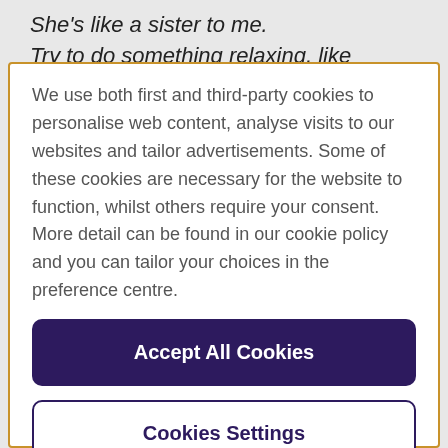She's like a sister to me. Try to do something relaxing, like reading a
We use both first and third-party cookies to personalise web content, analyse visits to our websites and tailor advertisements. Some of these cookies are necessary for the website to function, whilst others require your consent. More detail can be found in our cookie policy and you can tailor your choices in the preference centre.
Accept All Cookies
Cookies Settings